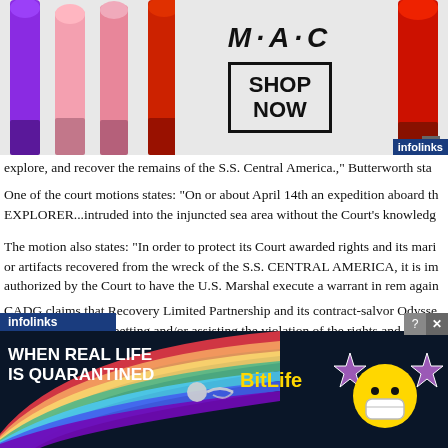[Figure (screenshot): MAC Cosmetics advertisement banner with lipstick products on left, MAC logo in center, and SHOP NOW box on right]
explore, and recover the remains of the S.S. Central America.," Butterworth sta
One of the court motions states: "On or about April 14th an expedition aboard th EXPLORER...intruded into the injuncted sea area without the Court's knowledg
The motion also states: "In order to protect its Court awarded rights and its mari or artifacts recovered from the wreck of the S.S. CENTRAL AMERICA, it is im authorized by the Court to have the U.S. Marshal execute a warrant in rem again
CADG claims that Recovery Limited Partnership and its contract-salvor Odysse any person aiding, abetting and/or assisting the violation of the rights and protec interlopers, have engaged in acts of conversion, misappropriation of tangible an trespass, violation of CADG’s injunctive, possessor, salvage and other rights, an
[Figure (screenshot): BitLife mobile game advertisement with rainbow design, text WHEN REAL LIFE IS QUARANTINED and BitLife logo]